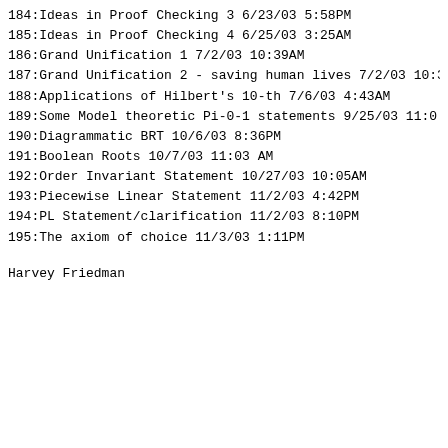184:Ideas in Proof Checking 3  6/23/03  5:58PM
185:Ideas in Proof Checking 4  6/25/03  3:25AM
186:Grand Unification 1  7/2/03  10:39AM
187:Grand Unification 2 - saving human lives 7/2/03 10:39
188:Applications of Hilbert's 10-th 7/6/03  4:43AM
189:Some Model theoretic Pi-0-1 statements  9/25/03  11:0
190:Diagrammatic BRT 10/6/03  8:36PM
191:Boolean Roots 10/7/03  11:03 AM
192:Order Invariant Statement 10/27/03 10:05AM
193:Piecewise Linear Statement  11/2/03  4:42PM
194:PL Statement/clarification  11/2/03  8:10PM
195:The axiom of choice  11/3/03  1:11PM
Harvey Friedman